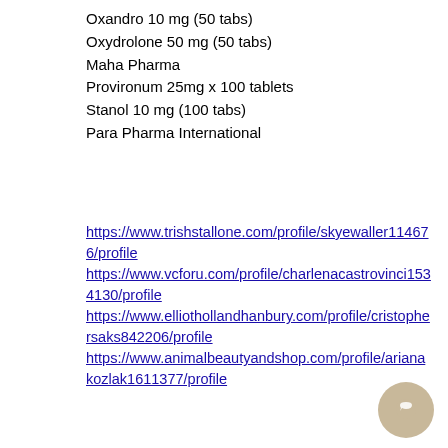Oxandro 10 mg (50 tabs)
Oxydrolone 50 mg (50 tabs)
Maha Pharma
Provironum 25mg x 100 tablets
Stanol 10 mg (100 tabs)
Para Pharma International
https://www.trishstallone.com/profile/skyewaller114676/profile https://www.vcforu.com/profile/charlenacastrovinci1534130/profile https://www.elliothollandhanbury.com/profile/cristophersaks842206/profile https://www.animalbeautyandshop.com/profile/arianakozlak1611377/profile